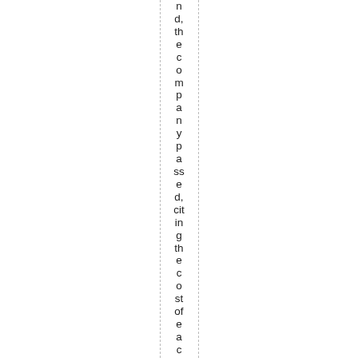nd, the company passed, citing the cost of each of